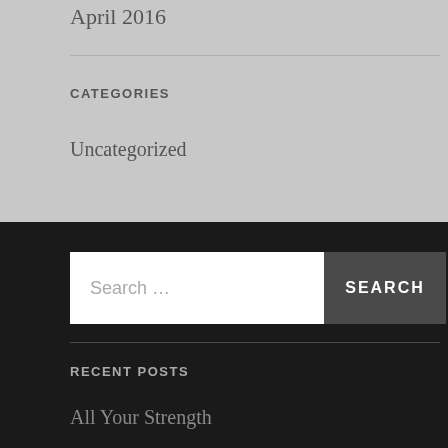April 2016
CATEGORIES
Uncategorized
Search ...
RECENT POSTS
All Your Strength